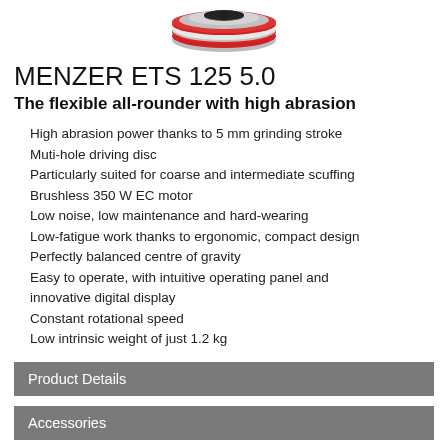[Figure (photo): Top-down view of MENZER ETS 125 5.0 sanding disc, red and silver circular sander]
MENZER ETS 125 5.0
The flexible all-rounder with high abrasion
High abrasion power thanks to 5 mm grinding stroke
Muti-hole driving disc
Particularly suited for coarse and intermediate scuffing
Brushless 350 W EC motor
Low noise, low maintenance and hard-wearing
Low-fatigue work thanks to ergonomic, compact design
Perfectly balanced centre of gravity
Easy to operate, with intuitive operating panel and innovative digital display
Constant rotational speed
Low intrinsic weight of just 1.2 kg
Product Details
Accessories